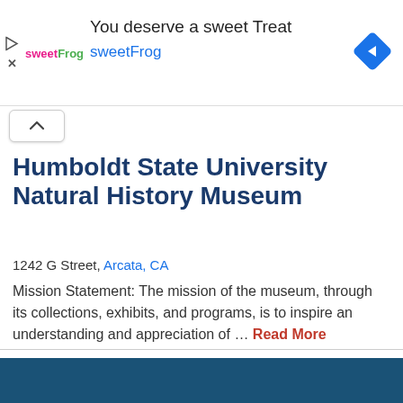[Figure (screenshot): sweetFrog advertisement banner with logo, 'You deserve a sweet Treat' headline, sweetFrog text link, and navigation arrow icon]
Humboldt State University Natural History Museum
1242 G Street, Arcata, CA
Mission Statement: The mission of the museum, through its collections, exhibits, and programs, is to inspire an understanding and appreciation of … Read More